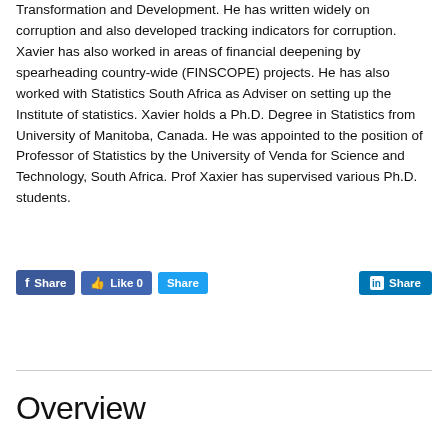Transformation and Development. He has written widely on corruption and also developed tracking indicators for corruption. Xavier has also worked in areas of financial deepening by spearheading country-wide (FINSCOPE) projects. He has also worked with Statistics South Africa as Adviser on setting up the Institute of statistics. Xavier holds a Ph.D. Degree in Statistics from University of Manitoba, Canada. He was appointed to the position of Professor of Statistics by the University of Venda for Science and Technology, South Africa. Prof Xaxier has supervised various Ph.D. students.
[Figure (other): Social sharing buttons: Facebook Share, Facebook Like 0, Twitter Share, LinkedIn Share]
Overview